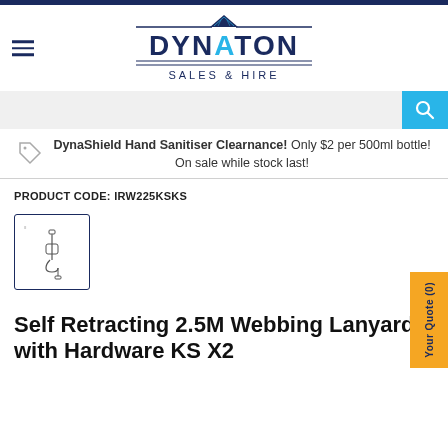[Figure (logo): Dynaton Sales & Hire logo with triangle/mountain shape and company name]
[Figure (screenshot): Search bar with cyan/blue search button]
DynaShield Hand Sanitiser Clearnance! Only $2 per 500ml bottle! On sale while stock last!
PRODUCT CODE: IRW225KSKS
[Figure (photo): Small thumbnail image of a self-retracting webbing lanyard with hardware]
Self Retracting 2.5M Webbing Lanyard with Hardware KS X2